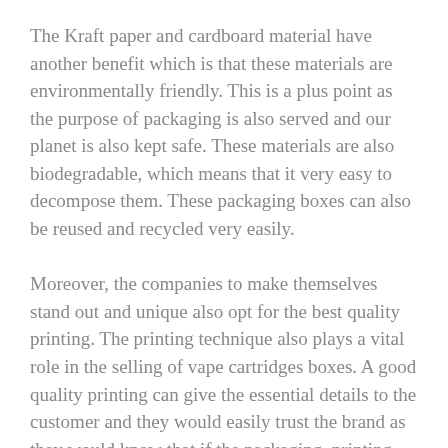The Kraft paper and cardboard material have another benefit which is that these materials are environmentally friendly. This is a plus point as the purpose of packaging is also served and our planet is also kept safe. These materials are also biodegradable, which means that it very easy to decompose them. These packaging boxes can also be reused and recycled very easily.
Moreover, the companies to make themselves stand out and unique also opt for the best quality printing. The printing technique also plays a vital role in the selling of vape cartridges boxes. A good quality printing can give the essential details to the customer and they would easily trust the brand as they would know that if the packaging, printing and appearance are so good then definitely the product would be very good. The printing on the boxes should have a unique and new logo, taglines and QR codes as well.